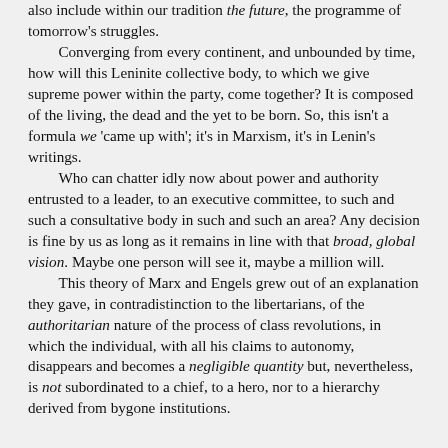also include within our tradition the future, the programme of tomorrow's struggles.
    Converging from every continent, and unbounded by time, how will this Leninite collective body, to which we give supreme power within the party, come together? It is composed of the living, the dead and the yet to be born. So, this isn't a formula we 'came up with'; it's in Marxism, it's in Lenin's writings.
    Who can chatter idly now about power and authority entrusted to a leader, to an executive committee, to such and such a consultative body in such and such an area? Any decision is fine by us as long as it remains in line with that broad, global vision. Maybe one person will see it, maybe a million will.
    This theory of Marx and Engels grew out of an explanation they gave, in contradistinction to the libertarians, of the authoritarian nature of the process of class revolutions, in which the individual, with all his claims to autonomy, disappears and becomes a negligible quantity but, nevertheless, is not subordinated to a chief, to a hero, nor to a hierarchy derived from bygone institutions.